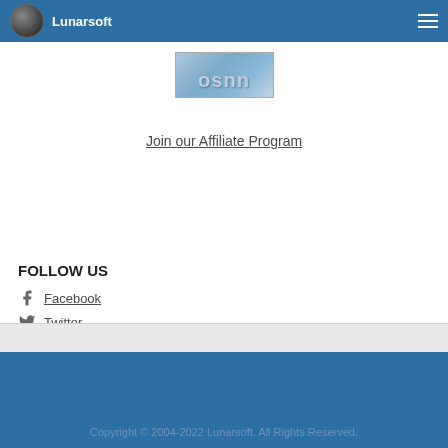Lunarsoft
[Figure (logo): OSNN logo banner with stylized text on blue-grey gradient background]
Join our Affiliate Program
FOLLOW US
Facebook
Twitter
Want to link to us?
Check out our Linking Guide!
Copyright © 2004-2022 Lunarsoft. All Rights Reserved.